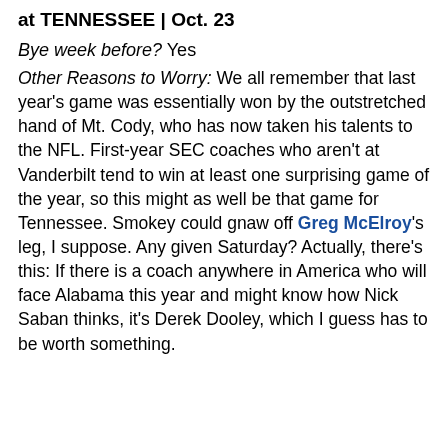at TENNESSEE | Oct. 23
Bye week before? Yes
Other Reasons to Worry: We all remember that last year's game was essentially won by the outstretched hand of Mt. Cody, who has now taken his talents to the NFL. First-year SEC coaches who aren't at Vanderbilt tend to win at least one surprising game of the year, so this might as well be that game for Tennessee. Smokey could gnaw off Greg McElroy's leg, I suppose. Any given Saturday? Actually, there's this: If there is a coach anywhere in America who will face Alabama this year and might know how Nick Saban thinks, it's Derek Dooley, which I guess has to be worth something.